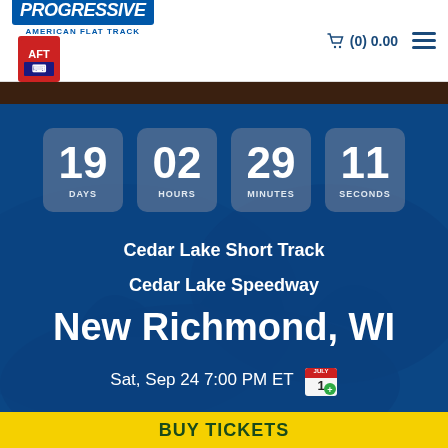[Figure (logo): Progressive American Flat Track logo with AFT badge]
(0) 0.00
[Figure (other): Countdown timer showing 19 DAYS, 02 HOURS, 29 MINUTES, 11 SECONDS]
Cedar Lake Short Track
Cedar Lake Speedway
New Richmond, WI
Sat, Sep 24 7:00 PM ET
BUY TICKETS